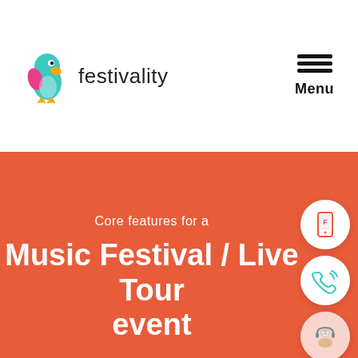[Figure (logo): Festivality logo with colorful parrot bird icon and text 'festivality']
[Figure (illustration): Hamburger menu icon with three horizontal lines and 'Menu' label below]
Core features for a
Music Festival / Live Tour event
[Figure (illustration): Three circular icons on the right side: a mobile phone app icon, a phone/call icon, and a headset/support icon]